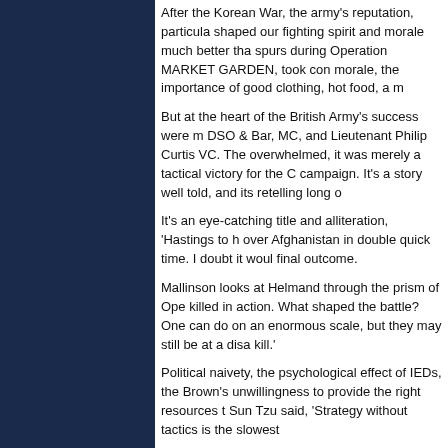After the Korean War, the army's reputation, particula shaped our fighting spirit and morale much better tha spurs during Operation MARKET GARDEN, took con morale, the importance of good clothing, hot food, a m
But at the heart of the British Army's success were m DSO & Bar, MC, and Lieutenant Philip Curtis VC. The overwhelmed, it was merely a tactical victory for the C campaign. It's a story well told, and its retelling long o
It's an eye-catching title and alliteration, 'Hastings to h over Afghanistan in double quick time. I doubt it would final outcome.
Mallinson looks at Helmand through the prism of Ope killed in action. What shaped the battle? One can do on an enormous scale, but they may still be at a disa kill.'
Political naivety, the psychological effect of IEDs, the Brown's unwillingness to provide the right resources t Sun Tzu said, 'Strategy without tactics is the slowest
Mallinson has given us a wonderful book, both educa
Bantam Press
The Shape of Battle: The Art of War from the Battle o